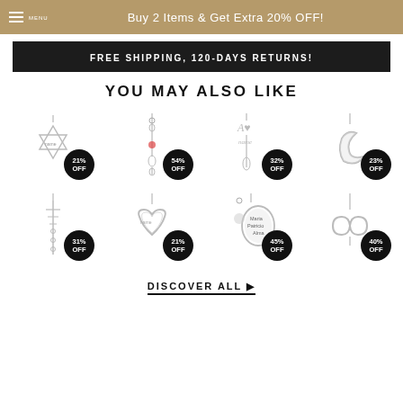Buy 2 Items & Get Extra 20% OFF!
FREE SHIPPING, 120-DAYS RETURNS!
YOU MAY ALSO LIKE
[Figure (photo): Star of David necklace pendant with 21% OFF badge]
[Figure (photo): Dangling charm necklace with gemstone, 54% OFF badge]
[Figure (photo): Script name charm necklace, 32% OFF badge]
[Figure (photo): Crescent moon pendant necklace, 23% OFF badge]
[Figure (photo): Cross/tree charm necklace, 31% OFF badge]
[Figure (photo): Heart pendant necklace, 21% OFF badge]
[Figure (photo): Family name disc pendant necklace (Maria, Patricio, Alma), 45% OFF badge]
[Figure (photo): Infinity symbol necklace, 40% OFF badge]
DISCOVER ALL ▶